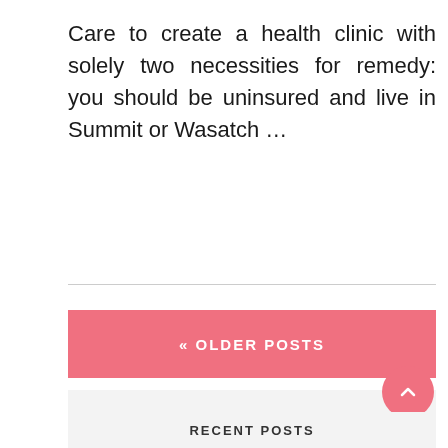Care to create a health clinic with solely two necessities for remedy: you should be uninsured and live in Summit or Wasatch …
[Figure (other): Pink button labeled « OLDER POSTS]
[Figure (other): Search input box with pink search button icon]
[Figure (other): Pink circular scroll-to-top button with upward chevron]
RECENT POSTS